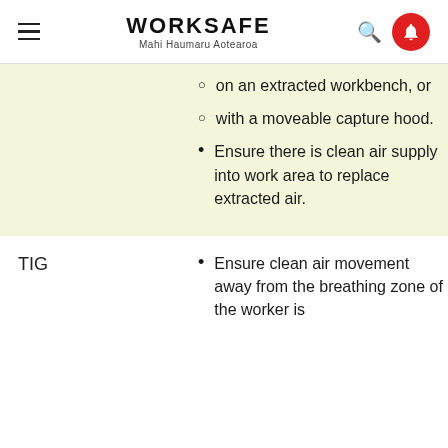WORKSAFE Mahi Haumaru Aotearoa
on an extracted workbench, or
with a moveable capture hood.
Ensure there is clean air supply into work area to replace extracted air.
TIG — Ensure clean air movement away from the breathing zone of the worker is